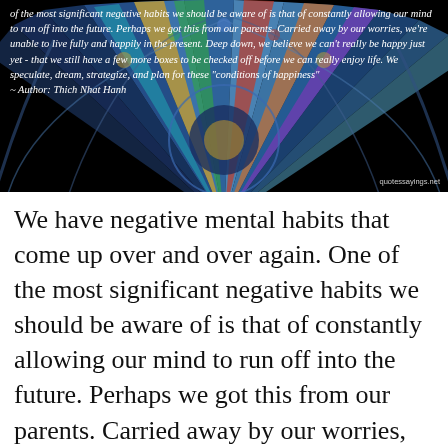[Figure (photo): Dark background image of a stained glass rose window with colorful geometric patterns radiating from center. White italic text overlaid at top reads a quote from Thich Nhat Hanh about negative mental habits and running the mind into the future. Watermark 'quotessayings.net' at bottom right.]
We have negative mental habits that come up over and over again. One of the most significant negative habits we should be aware of is that of constantly allowing our mind to run off into the future. Perhaps we got this from our parents. Carried away by our worries, we're unable to live fully and happily in the present. Deep down, we believe we can't really be happy just yet - that we still have a few more boxes to be checked off before we can really enjoy life. We speculate, dream, strategize, and plan for those